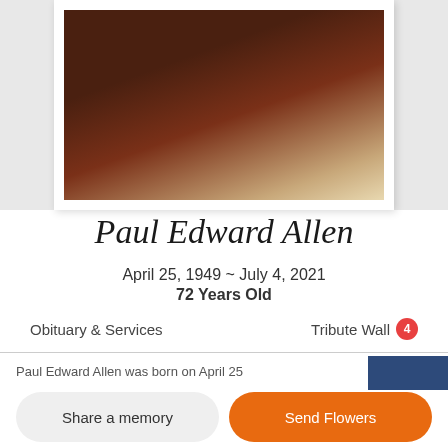[Figure (photo): Framed portrait photograph of Paul Edward Allen, showing hands clasped together, dark tones with warm beige background]
Paul Edward Allen
April 25, 1949 ~ July 4, 2021
72 Years Old
Obituary & Services    Tribute Wall 4
Paul Edward Allen was born on April 25
Share a memory
Send Flowers
Plant a Tree